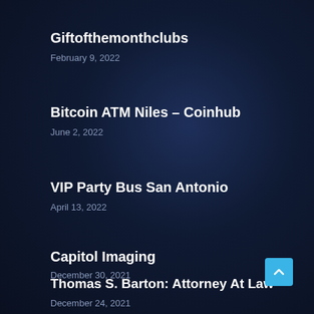Giftofthemonthclubs
February 9, 2022
Bitcoin ATM Niles – Coinhub
June 2, 2022
VIP Party Bus San Antonio
April 13, 2022
Capitol Imaging
December 30, 2021
Thomas S. Barton: Attorney At Law
December 24, 2021